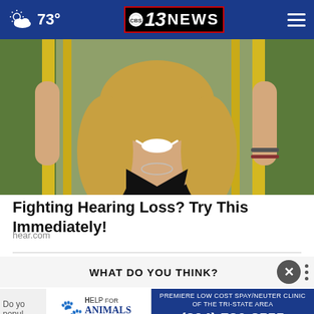73° CBS 13 NEWS
[Figure (photo): A smiling blonde woman wearing a black v-neck shirt with hands raised showing fingers, posed in front of a yellow industrial background.]
Fighting Hearing Loss? Try This Immediately!
hear.com
WHAT DO YOU THINK?
[Figure (logo): Help for Animals Spay & Neuter Clinic advertisement with paw print logo]
PREMIERE LOW COST SPAY/NEUTER CLINIC OF THE TRI-STATE AREA (304) 736-8555